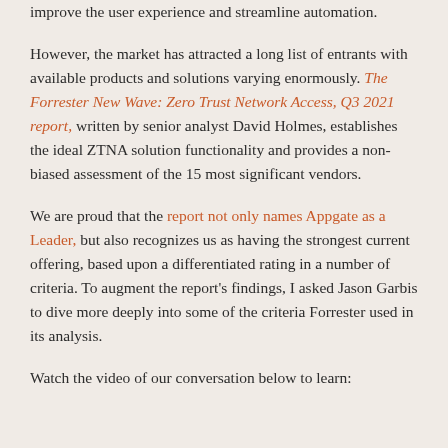improve the user experience and streamline automation.
However, the market has attracted a long list of entrants with available products and solutions varying enormously. The Forrester New Wave: Zero Trust Network Access, Q3 2021 report, written by senior analyst David Holmes, establishes the ideal ZTNA solution functionality and provides a non-biased assessment of the 15 most significant vendors.
We are proud that the report not only names Appgate as a Leader, but also recognizes us as having the strongest current offering, based upon a differentiated rating in a number of criteria. To augment the report's findings, I asked Jason Garbis to dive more deeply into some of the criteria Forrester used in its analysis.
Watch the video of our conversation below to learn: